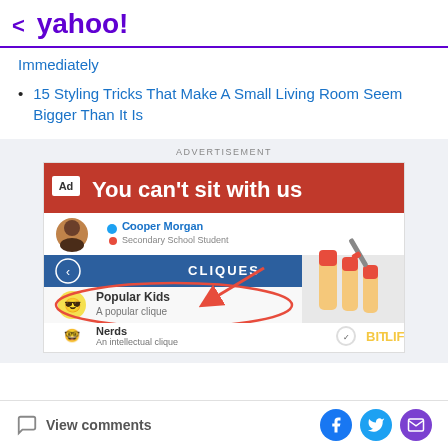< yahoo!
Immediately
15 Styling Tricks That Make A Small Living Room Seem Bigger Than It Is
[Figure (screenshot): Advertisement banner for BitLife game showing 'You can't sit with us' with cliques interface including Cooper Morgan (Secondary School Student), CLIQUES navigation, Popular Kids (A popular clique) circled with arrow, and Nerds (An intellectual clique), with red nail polish hand graphic.]
View comments